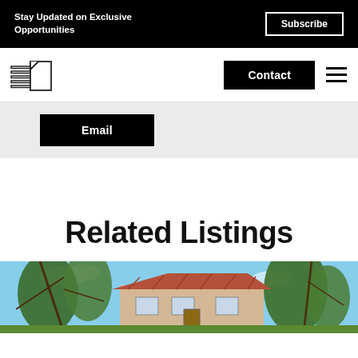Stay Updated on Exclusive Opportunities  |  Subscribe
[Figure (logo): Real estate company logo: stacked horizontal lines beside a building/page icon]
Contact
Email
Related Listings
[Figure (photo): Exterior photo of a residential property with trees and a terracotta-tiled roof, blue sky visible]